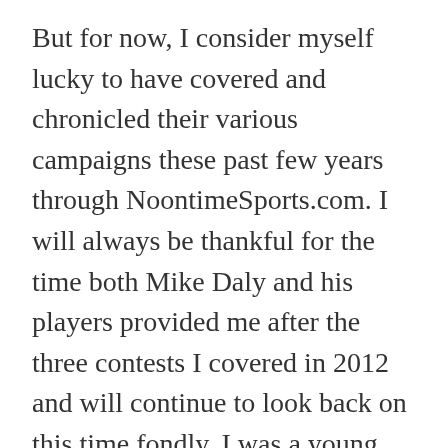But for now, I consider myself lucky to have covered and chronicled their various campaigns these past few years through NoontimeSports.com. I will always be thankful for the time both Mike Daly and his players provided me after the three contests I covered in 2012 and will continue to look back on this time fondly. I was a young journalist (and blogger), but also someone that wanted to learn more about a sport that I had only played once in my life. And because of Tufts, I am now an avid lacrosse fan, as well as a high school and middle school official here in Massachusetts.
I miss watching and covering games, especially on gorgeous days like today, but I do know